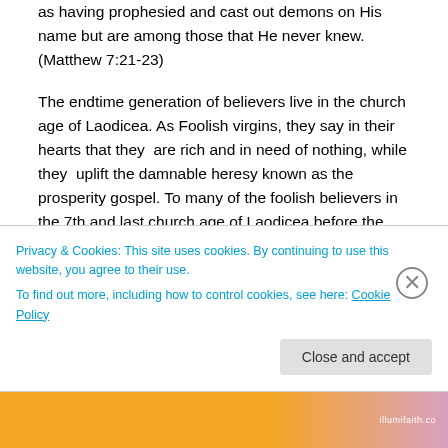as having prophesied and cast out demons on His name but are among those that He never knew. (Matthew 7:21-23)
The endtime generation of believers live in the church age of Laodicea. As Foolish virgins, they say in their hearts that they are rich and in need of nothing, while they uplift the damnable heresy known as the prosperity gospel. To many of the foolish believers in the 7th and last church age of Laodicea before the Bridegroom comes, are so deceived that they must not only buy oil but also gold that has been tried in the fire. (Rev 3:17-18). In other
Privacy & Cookies: This site uses cookies. By continuing to use this website, you agree to their use.
To find out more, including how to control cookies, see here: Cookie Policy